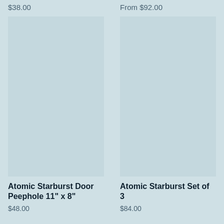$38.00
From $92.00
[Figure (photo): Product image placeholder for Atomic Starburst Door Peephole 11" x 8"]
[Figure (photo): Product image placeholder for Atomic Starburst Set of 3]
Atomic Starburst Door Peephole 11" x 8"
$48.00
Atomic Starburst Set of 3
$84.00